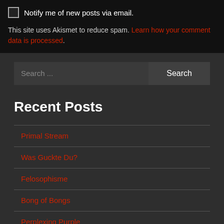Notify me of new posts via email.
This site uses Akismet to reduce spam. Learn how your comment data is processed.
Search ...
Recent Posts
Primal Stream
Was Guckte Du?
Felosophisme
Bong of Bongs
Perplexing Purple